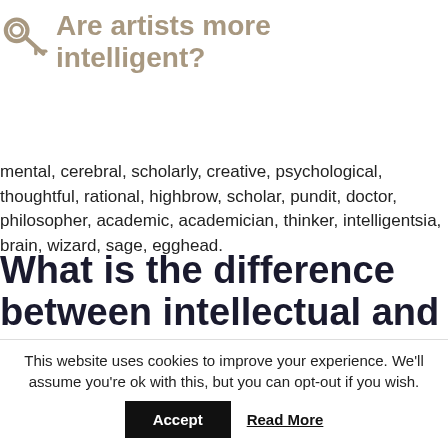Are artists more intelligent?
mental, cerebral, scholarly, creative, psychological, thoughtful, rational, highbrow, scholar, pundit, doctor, philosopher, academic, academician, thinker, intelligentsia, brain, wizard, sage, egghead.
What is the difference between intellectual and intelligent?
An intelligent person is said to be intelligent when they have mental
This website uses cookies to improve your experience. We'll assume you're ok with this, but you can opt-out if you wish.